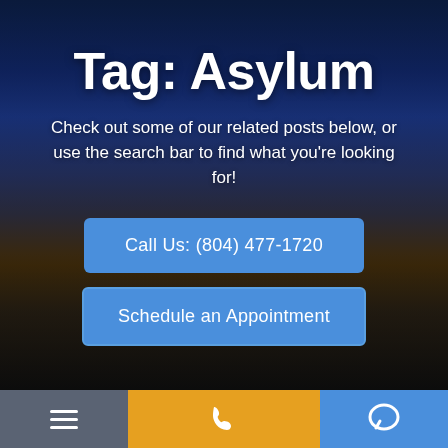Tag: Asylum
Check out some of our related posts below, or use the search bar to find what you're looking for!
Call Us: (804) 477-1720
Schedule an Appointment
Menu | Call | Chat